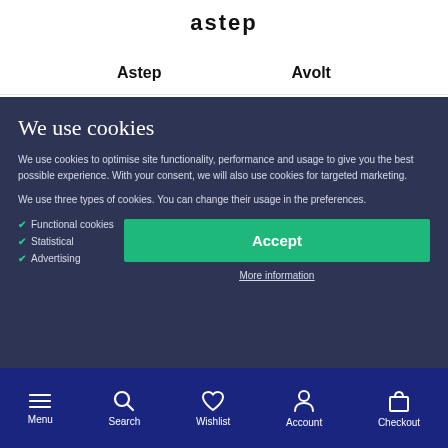astep
Astep    Avolt
We use cookies
We use cookies to optimise site functionality, performance and usage to give you the best possible experience. With your consent, we will also use cookies for targeted marketing.
We use three types of cookies. You can change their usage in the preferences.
Functional cookies
Statistical
Advertising
Accept
More information
Menu  Search  Wishlist  Account  Checkout